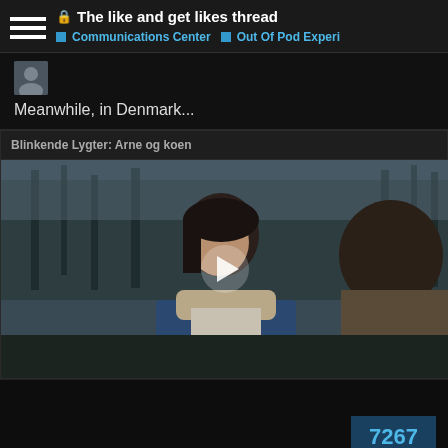🔒 The like and get likes thread
■ Communications Center  ■ Out Of Pod Experi
[Figure (screenshot): Avatar/profile thumbnail of a user]
Meanwhile, in Denmark...
Blinkende Lygter: Arne og koen
[Figure (screenshot): Video thumbnail showing a man with dark shoulder-length hair wearing a blue denim jacket with shearling collar, in a forest setting. A play button is overlaid in the center.]
7267